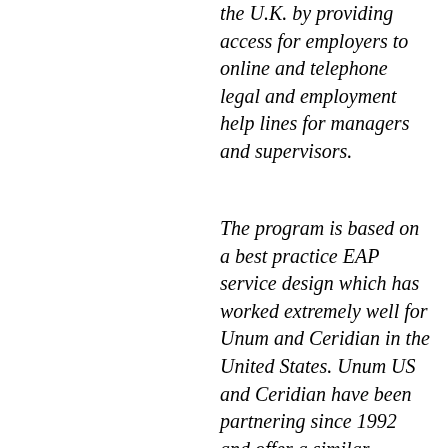the U.K. by providing access for employers to online and telephone legal and employment help lines for managers and supervisors.
The program is based on a best practice EAP service design which has worked extremely well for Unum and Ceridian in the United States. Unum US and Ceridian have been partnering since 1992 and offer a similar integrated EAP and work-life service to over 39,000 customers. Unums work-life balance EAP in the U.S. offers many modes of access to the service including online, face-to-face and telephonic to accommodate generational preferences and convenience. Employees can receive consultation and assistance with issues such as selecting a child care agency, parenting skills, elder concerns, financial